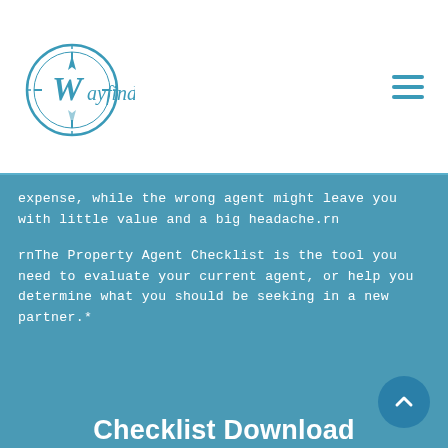[Figure (logo): Wayfinder compass logo with teal/blue circular compass design and the word 'Wayfinder' in teal text]
[Figure (other): Hamburger menu icon with three horizontal teal lines]
expense, while the wrong agent might leave you with little value and a big headache.rn
rnThe Property Agent Checklist is the tool you need to evaluate your current agent, or help you determine what you should be seeking in a new partner.*
Checklist Download